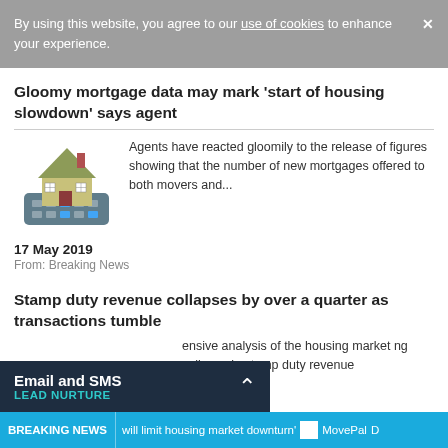By using this website, you agree to our use of cookies to enhance your experience.
Gloomy mortgage data may mark ‘start of housing slowdown’ says agent
[Figure (illustration): Illustration of a small house model sitting on a calculator, representing housing and mortgage data]
Agents have reacted gloomily to the release of figures showing that the number of new mortgages offered to both movers and...
17 May 2019
From: Breaking News
Stamp duty revenue collapses by over a quarter as transactions tumble
ensive analysis of the housing market ng collapse in stamp duty revenue
Email and SMS LEAD NURTURE
BREAKING NEWS   will limit housing market downturn'  MovePal  D